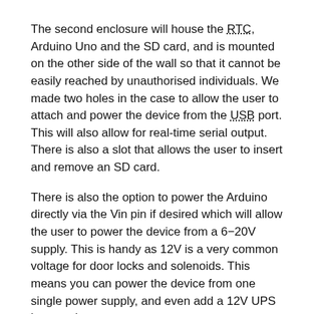The second enclosure will house the RTC, Arduino Uno and the SD card, and is mounted on the other side of the wall so that it cannot be easily reached by unauthorised individuals. We made two holes in the case to allow the user to attach and power the device from the USB port. This will also allow for real-time serial output. There is also a slot that allows the user to insert and remove an SD card.
There is also the option to power the Arduino directly via the Vin pin if desired which will allow the user to power the device from a 6−20V supply. This is handy as 12V is a very common voltage for door locks and solenoids. This means you can power the device from one single power supply, and even add a 12V UPS in case the power goes out.
Like the faceplate, the control box and lid were both printed on our Flashforge Creator Pro at a 200-micron layer height using Flashforge branded black PLA. The control box took 4-hours to print, and is printed without supports in the orientation shown.
Note: Depending on your slicer and printer's capabilities, you may